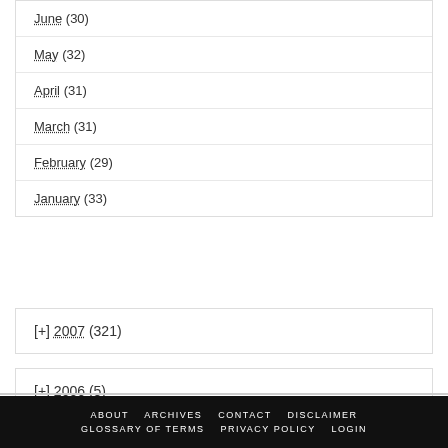June (30)
May (32)
April (31)
March (31)
February (29)
January (33)
[+] 2007 (321)
[+] 2006 (5)
ABOUT   ARCHIVES   CONTACT   DISCLAIMER   GLOSSARY OF TERMS   PRIVACY POLICY   LOGIN